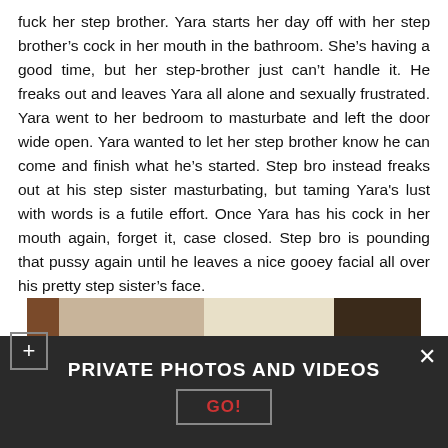fuck her step brother. Yara starts her day off with her step brother’s cock in her mouth in the bathroom. She’s having a good time, but her step-brother just can’t handle it. He freaks out and leaves Yara all alone and sexually frustrated. Yara went to her bedroom to masturbate and left the door wide open. Yara wanted to let her step brother know he can come and finish what he’s started. Step bro instead freaks out at his step sister masturbating, but taming Yara's lust with words is a futile effort. Once Yara has his cock in her mouth again, forget it, case closed. Step bro is pounding that pussy again until he leaves a nice gooey facial all over his pretty step sister’s face.
[Figure (photo): Partial photo showing interior room scene, partially obscured by banner overlay]
PRIVATE PHOTOS AND VIDEOS
GO!